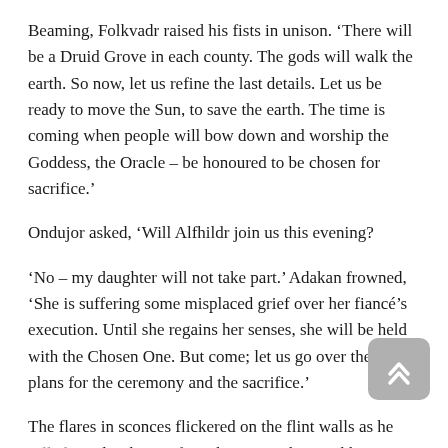Beaming, Folkvadr raised his fists in unison. ‘There will be a Druid Grove in each county. The gods will walk the earth. So now, let us refine the last details. Let us be ready to move the Sun, to save the earth. The time is coming when people will bow down and worship the Goddess, the Oracle – be honoured to be chosen for sacrifice.’
Ondujor asked, ‘Will Alfhildr join us this evening?
‘No – my daughter will not take part.’ Adakan frowned, ‘She is suffering some misplaced grief over her fiancé’s execution. Until she regains her senses, she will be held with the Chosen One. But come; let us go over the final plans for the ceremony and the sacrifice.’
The flares in sconces flickered on the flint walls as he rolled out the sheets of parchment on the roughhewn table. The guests of the Mystery Coach Tour will arrive in the grounds